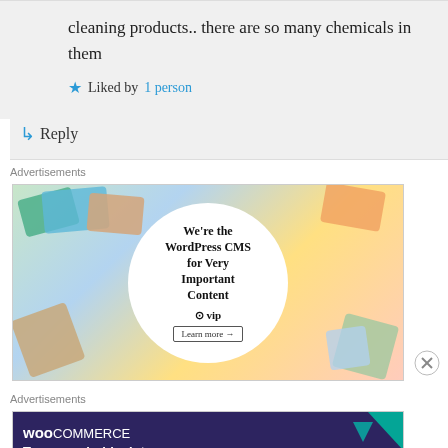cleaning products.. there are so many chemicals in them
Liked by 1 person
Reply
Advertisements
[Figure (other): WordPress VIP advertisement banner showing colorful media brand cards with a white circle overlay reading 'We're the WordPress CMS for Very Important Content' with a Learn more button]
Advertisements
[Figure (other): WooCommerce advertisement banner on dark purple background reading 'Turn your hobby into a business in 8 steps' with colorful geometric shapes]